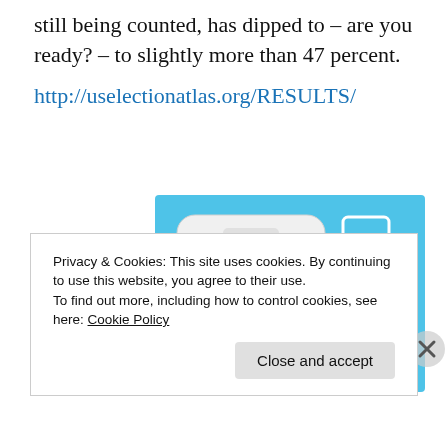still being counted, has dipped to – are you ready? – to slightly more than 47 percent.
http://uselectionatlas.org/RESULTS/
[Figure (illustration): Day One app advertisement on light blue background showing a smartphone with the journal app interface, displaying photo entries. Text reads 'DAY ONE' and 'Your Journal for life' with a bookmark icon.]
Privacy & Cookies: This site uses cookies. By continuing to use this website, you agree to their use.
To find out more, including how to control cookies, see here: Cookie Policy
Close and accept